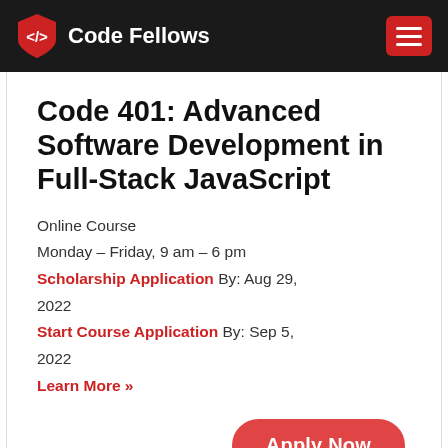Code Fellows
Code 401: Advanced Software Development in Full-Stack JavaScript
Online Course
Monday – Friday, 9 am – 6 pm
Scholarship Application By: Aug 29, 2022
Start Course Application By: Sep 5, 2022
Learn More »
Apply Now